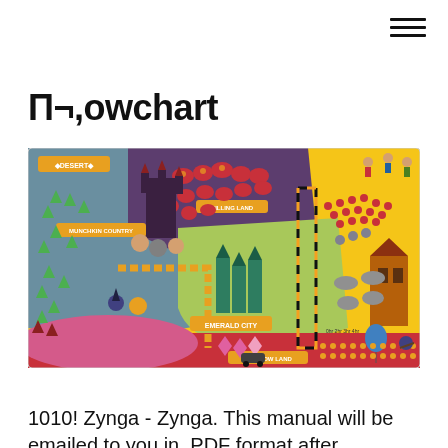≡
Π¬,owchart
[Figure (illustration): A colorful illustrated board game map resembling the Wizard of Oz world, with labeled regions including Desert, Munchkin Country, Killing Land, Emerald City, and Rainbow Land. Features castles, trees, characters, and a yellow brick road path.]
1010! Zynga - Zynga. This manual will be emailed to you in .PDF format after payment